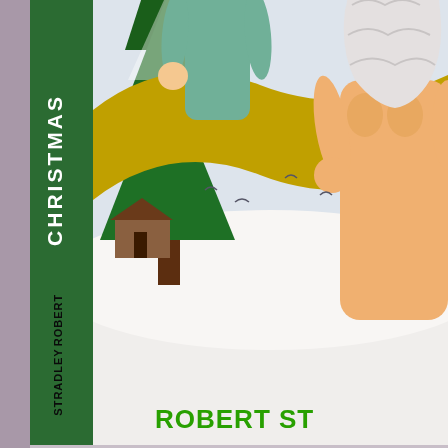[Figure (illustration): Book cover of 'The Christmas Zone' by Robert Stradley, showing a cartoon illustration of Santa Claus with a beard and glasses interacting with a character, a Christmas tree and snowy scene in background, green spine with 'CHRISTMAS' text vertically, yellow ribbon/banner across the cover]
Twisted Tail Productions™ Presents
The Christmas Zone™ Volume 1: El...
This is the first book in the series featuring Elfes at the North Pole.
Alone on Christmas Eve, Robin McMann town when he stumbled upon an automate him to the North Pole. Leelou Sparkletoes humbug" Elf, was muching out the reindee appeared. Robin was looking for love and